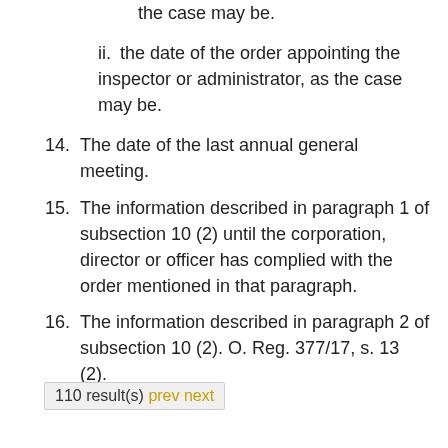the case may be.
ii. the date of the order appointing the inspector or administrator, as the case may be.
14. The date of the last annual general meeting.
15. The information described in paragraph 1 of subsection 10 (2) until the corporation, director or officer has complied with the order mentioned in that paragraph.
16. The information described in paragraph 2 of subsection 10 (2). O. Reg. 377/17, s. 13 (2).
110 result(s) prev next